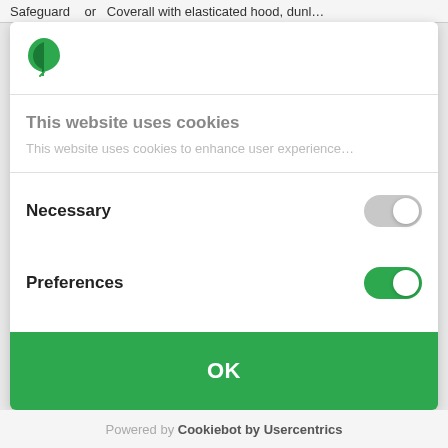Safeguard   or  Coverall with elasticated hood, dunl...
[Figure (logo): Green leaf/tree logo icon for Cookiebot]
This website uses cookies
This website uses cookies to enhance user experience...
Necessary
Preferences
Statistics
OK
Powered by Cookiebot by Usercentrics